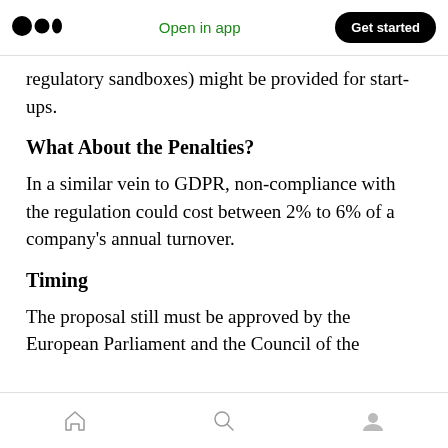Open in app | Get started
regulatory sandboxes) might be provided for start-ups.
What About the Penalties?
In a similar vein to GDPR, non-compliance with the regulation could cost between 2% to 6% of a company's annual turnover.
Timing
The proposal still must be approved by the European Parliament and the Council of the European Union. Those familiar with the EU…
Home | Search | Profile